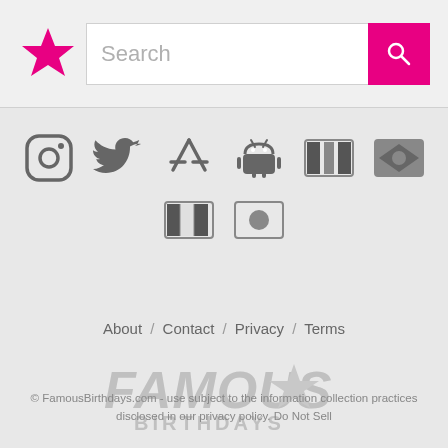[Figure (screenshot): Website header with pink star logo, search bar, and pink search button]
[Figure (infographic): Social media and app store icons: Instagram, Twitter, App Store, Android, Mexico flag, Brazil flag, Italy flag, Japan flag]
About / Contact / Privacy / Terms
[Figure (logo): Famous Birthdays watermark logo in gray]
© FamousBirthdays.com - use subject to the information collection practices disclosed in our privacy policy. Do Not Sell